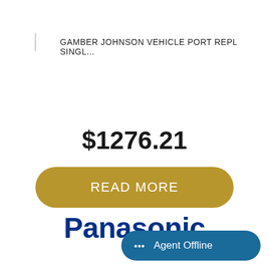GAMBER JOHNSON VEHICLE PORT REPL SINGL...
$1276.21
READ MORE
[Figure (logo): Panasonic logo in bold dark blue text]
Agent Offline